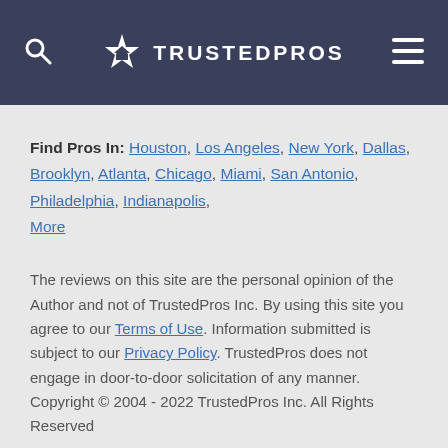TrustedPros
Find Pros In: Houston, Los Angeles, New York, Dallas, Brooklyn, Atlanta, Chicago, Miami, San Antonio, Philadelphia, Indianapolis, More
The reviews on this site are the personal opinion of the Author and not of TrustedPros Inc. By using this site you agree to our Terms of Use. Information submitted is subject to our Privacy Policy. TrustedPros does not engage in door-to-door solicitation of any manner. Copyright © 2004 - 2022 TrustedPros Inc. All Rights Reserved